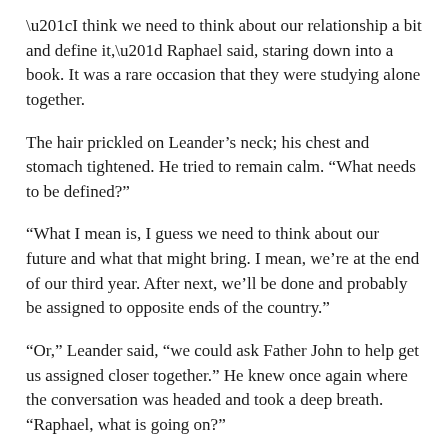“I think we need to think about our relationship a bit and define it,” Raphael said, staring down into a book. It was a rare occasion that they were studying alone together.
The hair prickled on Leander’s neck; his chest and stomach tightened. He tried to remain calm. “What needs to be defined?”
“What I mean is, I guess we need to think about our future and what that might bring. I mean, we’re at the end of our third year. After next, we’ll be done and probably be assigned to opposite ends of the country.”
“Or,” Leander said, “we could ask Father John to help get us assigned closer together.” He knew once again where the conversation was headed and took a deep breath. “Raphael, what is going on?”
“Well … nothing really … it’s –”